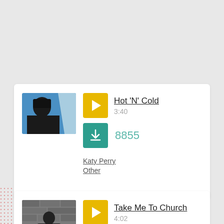[Figure (screenshot): Music app card showing Hot 'N' Cold by Katy Perry with play button, download count 8855, duration 3:40, artist Katy Perry, genre Other]
Hot 'N' Cold
3:40
8855
Katy Perry
Other
[Figure (screenshot): Music app card showing Take Me To Church with play button, duration 4:02]
Take Me To Church
4:02